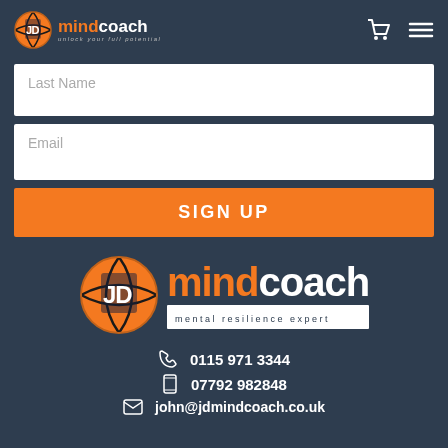JD mindcoach - unlock your full potential
Last Name
Email
SIGN UP
[Figure (logo): JD MindCoach logo large with basketball icon and tagline 'mental resilience expert']
0115 971 3344
07792 982848
john@jdmindcoach.co.uk